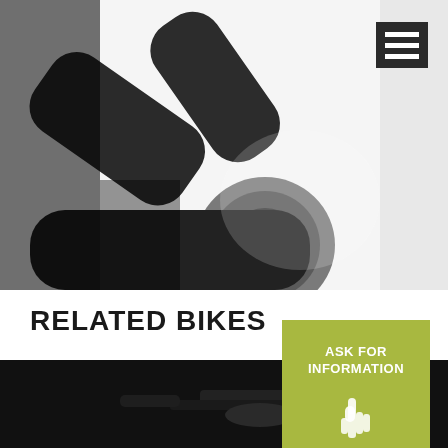[Figure (photo): Close-up photograph of a dark matte bicycle frame junction/bottom bracket area with metal hardware visible against a white background]
[Figure (other): Hamburger menu icon (three horizontal white bars on dark background) in top right corner]
RELATED BIKES
[Figure (other): Yellow-green square button with text 'ASK FOR INFORMATION' and a pointing hand cursor icon]
[Figure (photo): Dark/black bicycle component photograph at bottom of page, partially visible]